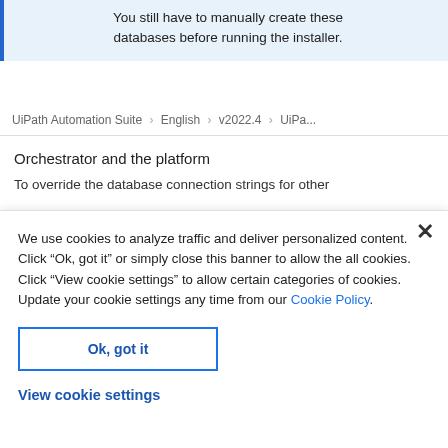You still have to manually create these databases before running the installer.
UiPath Automation Suite > English > v2022.4 > UiPa...
Orchestrator and the platform
To override the database connection strings for other
We use cookies to analyze traffic and deliver personalized content. Click “Ok, got it” or simply close this banner to allow the all cookies. Click “View cookie settings” to allow certain categories of cookies. Update your cookie settings any time from our Cookie Policy.
Ok, got it
View cookie settings